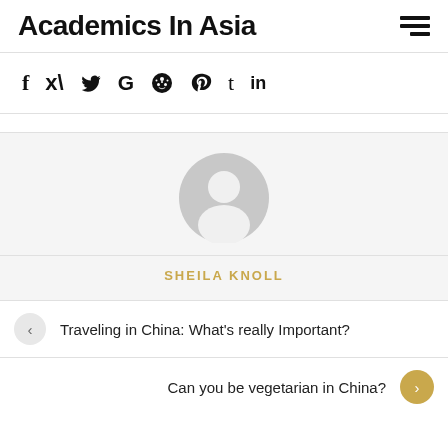Academics In Asia
[Figure (infographic): Social media sharing icons: Facebook (f), Twitter, Google (G), Reddit, Pinterest, Tumblr (t), LinkedIn (in)]
[Figure (illustration): Generic user avatar - grey circle with white silhouette of a person]
SHEILA KNOLL
Traveling in China: What's really Important?
Can you be vegetarian in China?